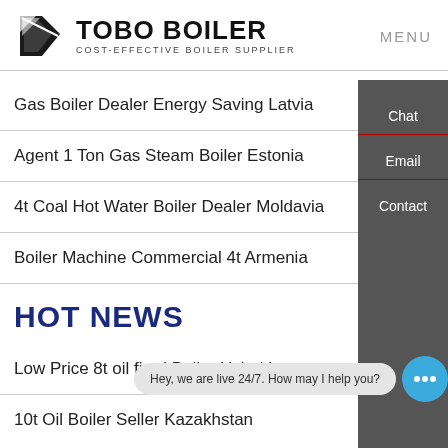TOBO BOILER — COST-EFFECTIVE BOILER SUPPLIER | MENU
Gas Boiler Dealer Energy Saving Latvia
Agent 1 Ton Gas Steam Boiler Estonia
4t Coal Hot Water Boiler Dealer Moldavia
Boiler Machine Commercial 4t Armenia
HOT NEWS
Low Price 8t oil fired Boiler Uzbekistan
10t Oil Boiler Seller Kazakhstan
Hey, we are live 24/7. How may I help you?